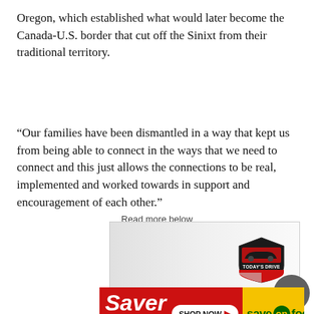Oregon, which established what would later become the Canada-U.S. border that cut off the Sinixt from their traditional territory.
“Our families have been dismantled in a way that kept us from being able to connect in the ways that we need to connect and this just allows the connections to be real, implemented and worked towards in support and encouragement of each other.”
Read more below
[Figure (advertisement): Today's Drive advertisement banner with logo (shield shaped badge with red car graphic and text 'TODAY'S DRIVE')]
[Figure (advertisement): Save on Foods 'Saver days' advertisement banner with red left section showing 'Saver days' text and 'SHOP NOW' button, and yellow right section with 'save on foods' logo]